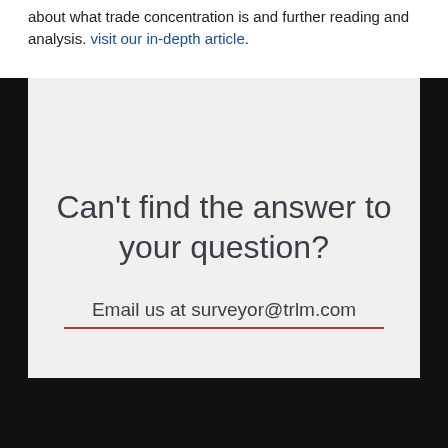about what trade concentration is and further reading and analysis. visit our in-depth article.
Can't find the answer to your question?
Email us at surveyor@trlm.com
HEADQUARTERS